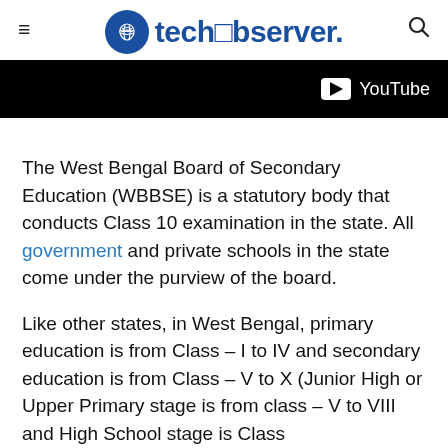techobserver.
[Figure (screenshot): YouTube banner — black background with YouTube logo and text on the right side]
The West Bengal Board of Secondary Education (WBBSE) is a statutory body that conducts Class 10 examination in the state. All government and private schools in the state come under the purview of the board.
Like other states, in West Bengal, primary education is from Class – I to IV and secondary education is from Class – V to X (Junior High or Upper Primary stage is from class – V to VIII and High School stage is Class